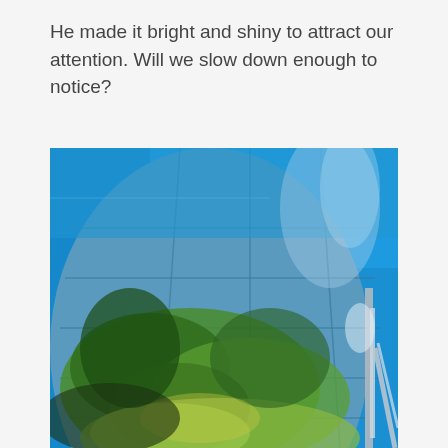He made it bright and shiny to attract our attention. Will we slow down enough to notice?
[Figure (photo): A large reflective metallic sculpture viewed from below against a bright blue sky. The curved mirrored surface reflects a distorted panoramic view of green trees, grassy fields, and a building. The sculpture appears to be made of polished panels arranged in a grid pattern, curving outward.]